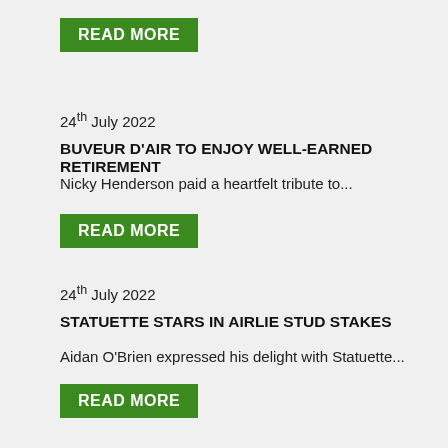READ MORE
24th July 2022
BUVEUR D'AIR TO ENJOY WELL-EARNED RETIREMENT
Nicky Henderson paid a heartfelt tribute to...
READ MORE
24th July 2022
STATUETTE STARS IN AIRLIE STUD STAKES
Aidan O'Brien expressed his delight with Statuette...
READ MORE
24th July 2022
WRITTEN IN CURSED IRISH DERBY TRIUMPH